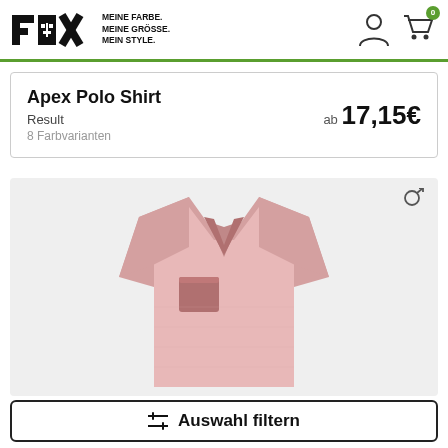FOXX MEINE FARBE. MEINE GRÖSSE. MEIN STYLE.
Apex Polo Shirt
Result
8 Farbvarianten
ab 17,15€
[Figure (photo): Pink V-neck t-shirt with a darker pink chest pocket displayed on a light gray background. A male gender icon is shown in the top right corner of the image area.]
Auswahl filtern